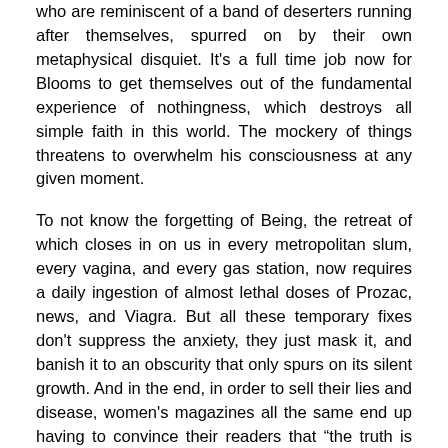who are reminiscent of a band of deserters running after themselves, spurred on by their own metaphysical disquiet. It's a full time job now for Blooms to get themselves out of the fundamental experience of nothingness, which destroys all simple faith in this world. The mockery of things threatens to overwhelm his consciousness at any given moment.
To not know the forgetting of Being, the retreat of which closes in on us in every metropolitan slum, every vagina, and every gas station, now requires a daily ingestion of almost lethal doses of Prozac, news, and Viagra. But all these temporary fixes don't suppress the anxiety, they just mask it, and banish it to an obscurity that only spurs on its silent growth. And in the end, in order to sell their lies and disease, women's magazines all the same end up having to convince their readers that “the truth is good for your health,” cosmetics multinationals are decide to put things like “metaphysics, ethics, and epistemology” on their packaging, TF1 sets up the “quest for meaning”, as a profitable principle for its upcoming programming, and Starck, that enlightened counterfeiter, gives La Redoute information about its competitors a few years in advance by putting together for it a “catalogue of non-products for use by non-consumers.”
It's hard to imagine how so totally at a loss domination must have